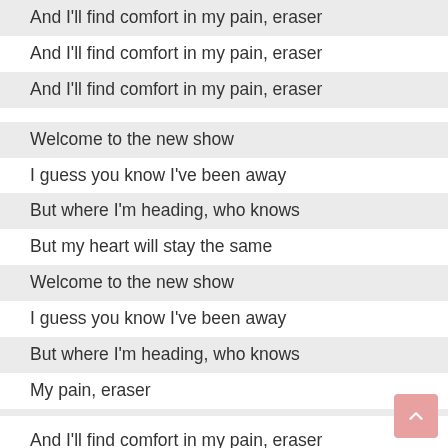And I'll find comfort in my pain, eraser
And I'll find comfort in my pain, eraser
And I'll find comfort in my pain, eraser
Welcome to the new show
I guess you know I've been away
But where I'm heading, who knows
But my heart will stay the same
Welcome to the new show
I guess you know I've been away
But where I'm heading, who knows
My pain, eraser
And I'll find comfort in my pain, eraser
And I'll find comfort in my pain, eraser
And I'll find comfort in my pain, eraser
And I'll find comfort in my pain,eraser